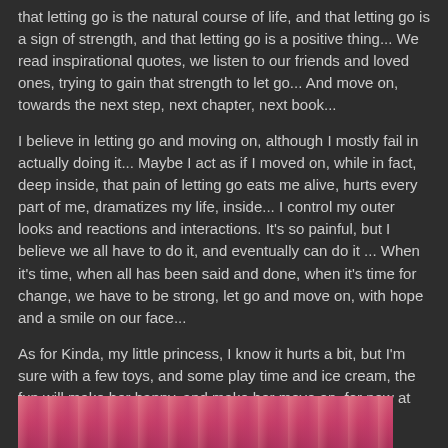that letting go is the natural course of life, and that letting go is a sign of strength, and that letting go is a positive thing... We read inspirational quotes, we listen to our friends and loved ones, trying to gain that strength to let go... And move on, towards the next step, next chapter, next book...
I believe in letting go and moving on, although I mostly fail in actually doing it... Maybe I act as if I moved on, while in fact, deep inside, that pain of letting go eats me alive, hurts every part of me, dramatizes my life, inside... I control my outer looks and reactions and interactions. It's so painful, but I believe we all have to do it, and eventually can do it ... When it's time, when all has been said and done, when it's time for change, we have to be strong, let go and move on, with hope and a smile on our face...
As for Kinda, my little princess, I know it hurts a bit, but I'm sure with a few toys, and some play time and ice cream, the fun will make her happy, and make her move on, for now at least :-)
[Figure (photo): Bottom strip showing partial photo, appears to be a colorful/pink image, cropped at bottom of page]